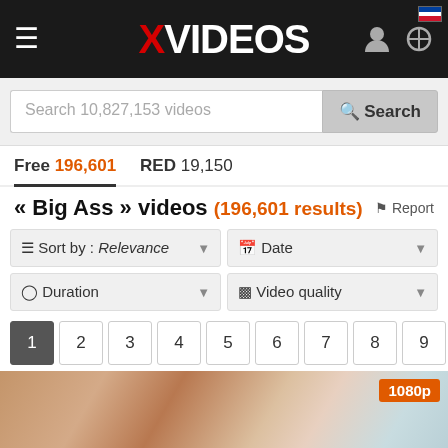XVIDEOS
Search 10,827,153 videos   Search
Free 196,601   RED 19,150
« Big Ass » videos (196,601 results)
Sort by : Relevance   Date   Duration   Video quality
1  2  3  4  5  6  7  8  9  10
[Figure (photo): Video thumbnail showing explicit adult content with 1080p quality badge]